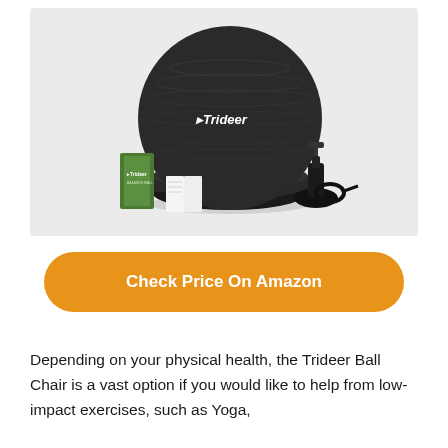[Figure (photo): Product photo of the Trideer Ball Chair — a large dark grey/black exercise ball sitting on a circular black base/ring. In front of the ball and base there is a green product box with the Trideer logo, instruction papers, and a black hand pump with a resistance band.]
Check Price On Amazon
Depending on your physical health, the Trideer Ball Chair is a vast option if you would like to help from low-impact exercises, such as Yoga,